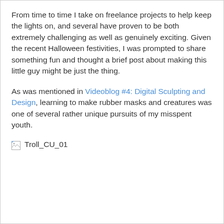From time to time I take on freelance projects to help keep the lights on, and several have proven to be both extremely challenging as well as genuinely exciting. Given the recent Halloween festivities, I was prompted to share something fun and thought a brief post about making this little guy might be just the thing.
As was mentioned in Videoblog #4: Digital Sculpting and Design, learning to make rubber masks and creatures was one of several rather unique pursuits of my misspent youth.
[Figure (photo): Broken image placeholder with alt text 'Troll_CU_01']